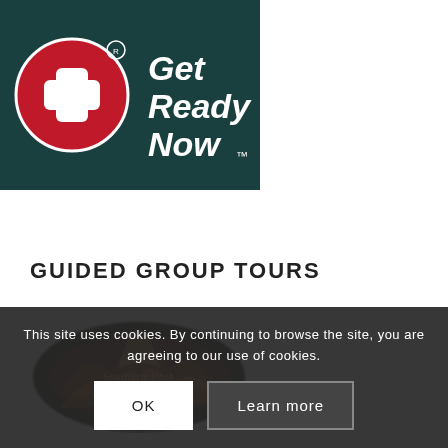[Figure (logo): Get Ready Now logo: red circle with white cross/plus symbol and registration mark, teal/dark green background, white bold italic text reading 'Get Ready Now' with trademark symbol]
GUIDED GROUP TOURS
[Figure (logo): Southern Utah Scenic Tours oval logo with dark background showing canyon/rock imagery and stylized text]
This site uses cookies. By continuing to browse the site, you are agreeing to our use of cookies.
OK
Learn more